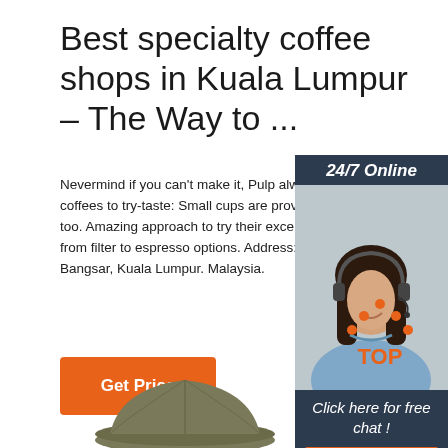Best specialty coffee shops in Kuala Lumpur – The Way to ...
Nevermind if you can't make it, Pulp always offers 4 coffees to try-taste: Small cups are provided to help too. Amazing approach to try their excellent beans, from filter to espresso options. Address: 29, Jalan R Bangsar, Kuala Lumpur. Malaysia.
[Figure (infographic): 24/7 Online chat support advertisement panel with woman wearing headset, dark navy background, orange QUOTATION button]
[Figure (infographic): Orange Get Price button]
[Figure (infographic): TOP back-to-top button with orange dots forming arrow pointing up]
[Figure (photo): Partial view of an olive/khaki colored cap hat at bottom of page]